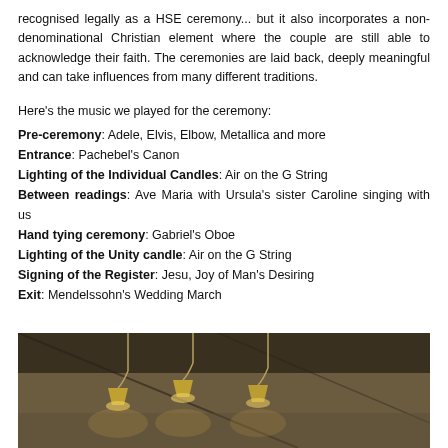recognised legally as a HSE ceremony... but it also incorporates a non-denominational Christian element where the couple are still able to acknowledge their faith. The ceremonies are laid back, deeply meaningful and can take influences from many different traditions.
Here's the music we played for the ceremony:
Pre-ceremony: Adele, Elvis, Elbow, Metallica and more
Entrance: Pachebel's Canon
Lighting of the Individual Candles: Air on the G String
Between readings: Ave Maria with Ursula's sister Caroline singing with us
Hand tying ceremony: Gabriel's Oboe
Lighting of the Unity candle: Air on the G String
Signing of the Register: Jesu, Joy of Man's Desiring
Exit: Mendelssohn's Wedding March
[Figure (photo): Interior photo showing hanging pendant lamps with warm golden light against a dark ceiling/wall background, with diagonal architectural lines visible]